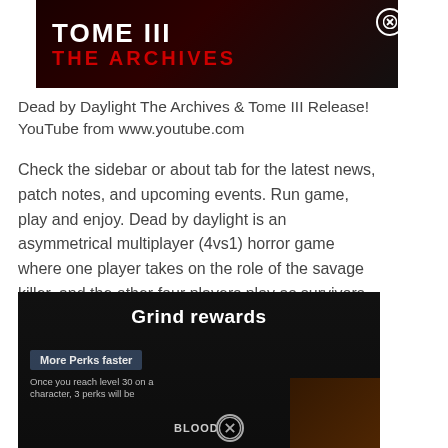[Figure (screenshot): Dark background banner image with 'TOME III' in white bold text and 'THE ARCHIVES' in red bold text, with a close (X) button in top right corner]
Dead by Daylight The Archives & Tome III Release! YouTube from www.youtube.com
Check the sidebar or about tab for the latest news, patch notes, and upcoming events. Run game, play and enjoy. Dead by daylight is an asymmetrical multiplayer (4vs1) horror game where one player takes on the role of the savage killer, and the other four players play as survivors, trying to escape the killer and avoid being caught and killed.
[Figure (screenshot): Dark game screenshot showing 'Grind rewards' title, 'More Perks faster' box, partial text 'Once you reach level 30 on a character, 3 perks will be', 'BLOOD' label, and a close (X) button]